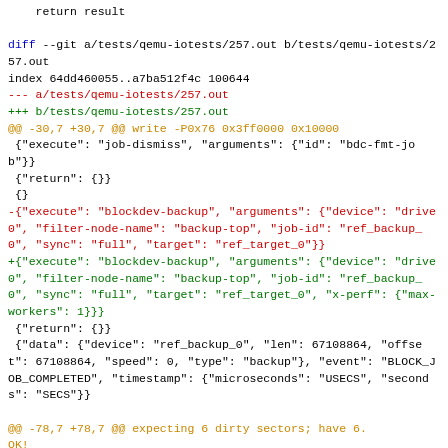return result

diff --git a/tests/qemu-iotests/257.out b/tests/qemu-iotests/257.out
index 64dd460055..a7ba512f4c 100644
--- a/tests/qemu-iotests/257.out
+++ b/tests/qemu-iotests/257.out
@@ -30,7 +30,7 @@ write -P0x76 0x3ff0000 0x10000
 {"execute": "job-dismiss", "arguments": {"id": "bdc-fmt-job"}}
 {"return": {}}
 {}
-{"execute": "blockdev-backup", "arguments": {"device": "drive0", "filter-node-name": "backup-top", "job-id": "ref_backup_0", "sync": "full", "target": "ref_target_0"}}
+{"execute": "blockdev-backup", "arguments": {"device": "drive0", "filter-node-name": "backup-top", "job-id": "ref_backup_0", "sync": "full", "target": "ref_target_0", "x-perf": {"max-workers": 1}}}
 {"return": {}}
 {"data": {"device": "ref_backup_0", "len": 67108864, "offset": 67108864, "speed": 0, "type": "backup"}, "event": "BLOCK_JOB_COMPLETED", "timestamp": {"microseconds": "USECS", "seconds": "SECS"}}

@@ -78,7 +78,7 @@ expecting 6 dirty sectors; have 6.
OK!
 {"execute": "job-dismiss", "arguments": {"id": "bdc-fmt-job"}}
 {"return": {}}